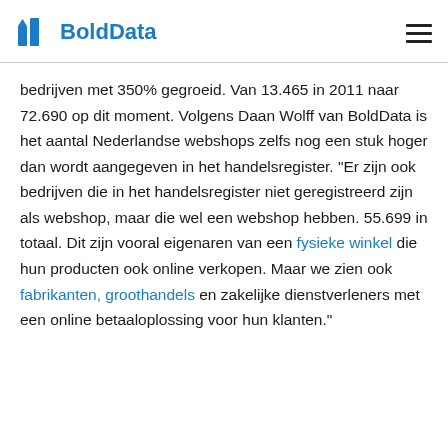BoldData
bedrijven met 350% gegroeid. Van 13.465 in 2011 naar 72.690 op dit moment. Volgens Daan Wolff van BoldData is het aantal Nederlandse webshops zelfs nog een stuk hoger dan wordt aangegeven in het handelsregister. “Er zijn ook bedrijven die in het handelsregister niet geregistreerd zijn als webshop, maar die wel een webshop hebben. 55.699 in totaal. Dit zijn vooral eigenaren van een fysieke winkel die hun producten ook online verkopen. Maar we zien ook fabrikanten, groothandels en zakelijke dienstverleners met een online betaaloplossing voor hun klanten.”